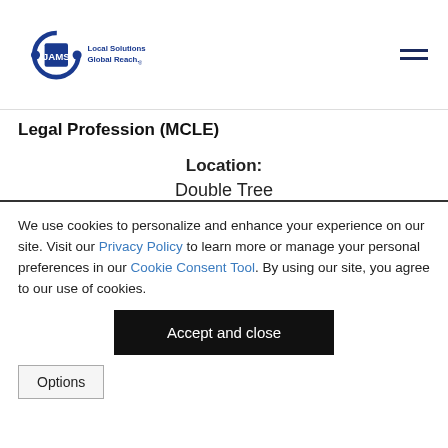[Figure (logo): JAMS logo with text 'Local Solutions. Global Reach.']
Legal Profession (MCLE)
Location:
Double Tree
120 South Los Angeles Street
Los Angeles, CA 90012
Featured People
We use cookies to personalize and enhance your experience on our site. Visit our Privacy Policy to learn more or manage your personal preferences in our Cookie Consent Tool. By using our site, you agree to our use of cookies.
Accept and close
Options